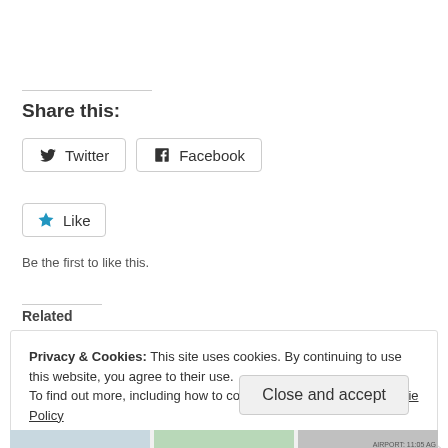Share this:
Twitter  Facebook
Like
Be the first to like this.
Related
Privacy & Cookies: This site uses cookies. By continuing to use this website, you agree to their use.
To find out more, including how to control cookies, see here: Cookie Policy
Close and accept